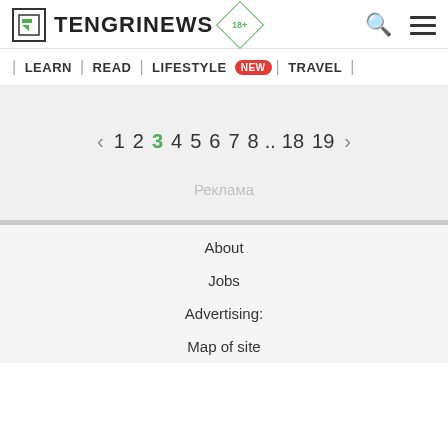TENGRINEWS 18+
| LEARN | READ | LIFESTYLE NEW | TRAVEL |
‹ 1 2 3 4 5 6 7 8 .. 18 19 ›
Реклама
About
Jobs
Advertising:
Map of site